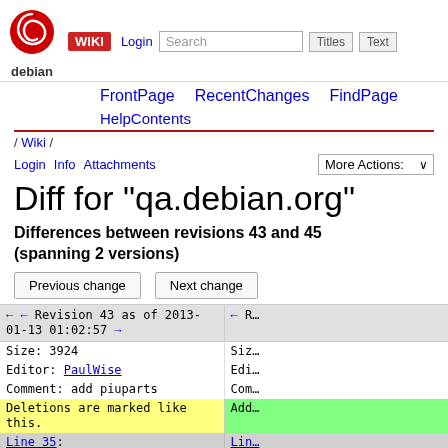WIKI  Login  Search  Titles  Text
FrontPage  RecentChanges  FindPage
HelpContents
/ Wiki /
Login  Info  Attachments  More Actions:
Diff for "qa.debian.org"
Differences between revisions 43 and 45 (spanning 2 versions)
Previous change   Next change
| Revision 43 | Revision (right) |
| --- | --- |
| ← ← Revision 43 as of 2013-01-13 01:02:57 → | ← R... |
| Size: 3924 | Siz... |
| Editor: PaulWise | Edi... |
| Comment: add piuparts | Com... |
| Deletions are marked like this. | Add... |
| Line 35: | Lin... |
| * |  |